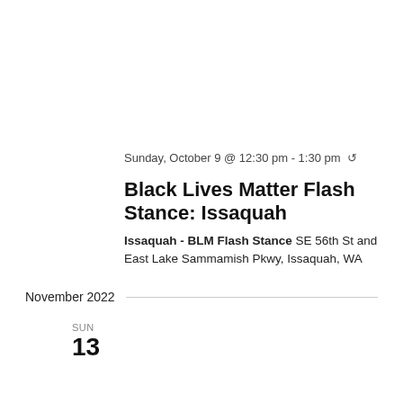Sunday, October 9 @ 12:30 pm - 1:30 pm ↺
Black Lives Matter Flash Stance: Issaquah
Issaquah - BLM Flash Stance SE 56th St and East Lake Sammamish Pkwy, Issaquah, WA
November 2022
SUN 13